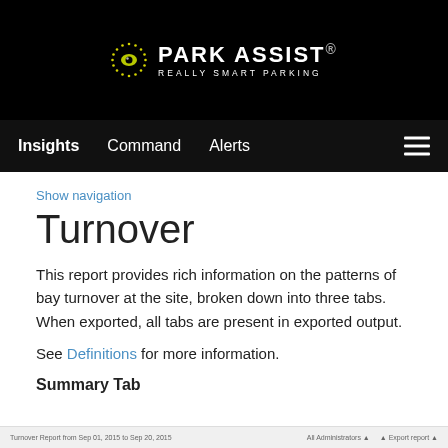[Figure (logo): Park Assist logo with yellow circular icon and text 'PARK ASSIST. REALLY SMART PARKING' on black background]
Insights   Command   Alerts
Show navigation
Turnover
This report provides rich information on the patterns of bay turnover at the site, broken down into three tabs. When exported, all tabs are present in exported output.
See Definitions for more information.
Summary Tab
Turnover Report from Sep 01, 2015 to Sep 20, 2015